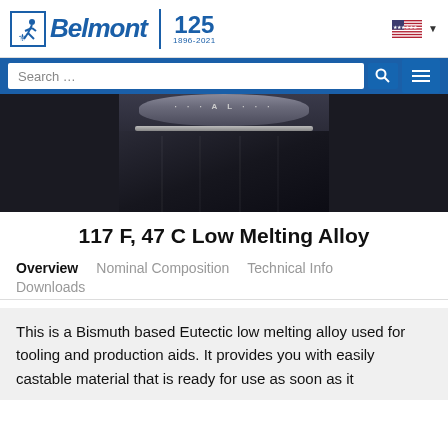[Figure (logo): Belmont Metals logo with figure icon, Belmont italic text, vertical divider, 125 anniversary text (1896-2021), US flag, and dropdown arrow]
[Figure (screenshot): Search bar with search text field, magnifying glass icon, and hamburger menu on blue background]
[Figure (photo): Close-up photo of a dark metallic cylindrical alloy ingot with text on top surface, showing a bismuth-based low melting alloy]
117 F, 47 C Low Melting Alloy
Overview
Nominal Composition
Technical Info
Downloads
This is a Bismuth based Eutectic low melting alloy used for tooling and production aids. It provides you with easily castable material that is ready for use as soon as it